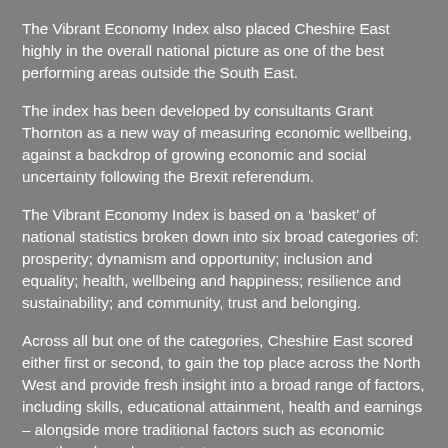The Vibrant Economy Index also placed Cheshire East highly in the overall national picture as one of the best performing areas outside the South East.
The index has been developed by consultants Grant Thornton as a new way of measuring economic wellbeing, against a backdrop of growing economic and social uncertainty following the Brexit referendum.
The Vibrant Economy Index is based on a ‘basket’ of national statistics broken down into six broad categories of: prosperity; dynamism and opportunity; inclusion and equality; health, wellbeing and happiness; resilience and sustainability; and community, trust and belonging.
Across all but one of the categories, Cheshire East scored either first or second, to gain the top place across the North West and provide fresh insight into a broad range of factors, including skills, educational attainment, health and earnings – alongside more traditional factors such as economic growth and employment rates.
Councillor Don Stockton, Cheshire East Council cabinet